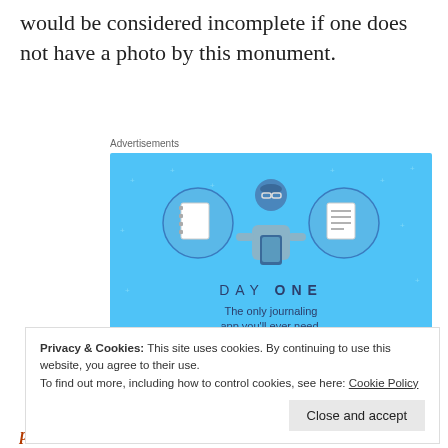would be considered incomplete if one does not have a photo by this monument.
Advertisements
[Figure (illustration): Day One journaling app advertisement on a blue background. Shows three circular icons: a blank notebook, a person holding a phone, and a lined page. Text reads 'DAY ONE - The only journaling app you'll ever need.' with a 'Get the app' button.]
Privacy & Cookies: This site uses cookies. By continuing to use this website, you agree to their use.
To find out more, including how to control cookies, see here: Cookie Policy
Close and accept
please read my blog